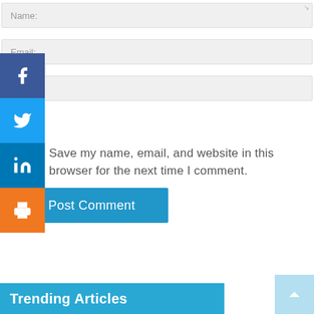Name:
Email:
Website:
Save my name, email, and website in this browser for the next time I comment.
Post Comment
Trending Articles